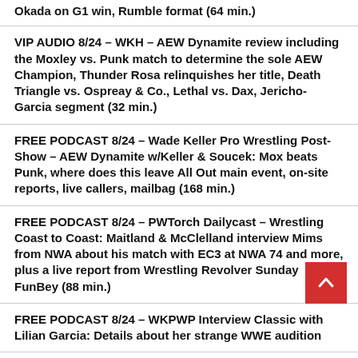Okada on G1 win, Rumble format (64 min.)
VIP AUDIO 8/24 – WKH – AEW Dynamite review including the Moxley vs. Punk match to determine the sole AEW Champion, Thunder Rosa relinquishes her title, Death Triangle vs. Ospreay & Co., Lethal vs. Dax, Jericho-Garcia segment (32 min.)
FREE PODCAST 8/24 – Wade Keller Pro Wrestling Post-Show – AEW Dynamite w/Keller & Soucek: Mox beats Punk, where does this leave All Out main event, on-site reports, live callers, mailbag (168 min.)
FREE PODCAST 8/24 – PWTorch Dailycast – Wrestling Coast to Coast: Maitland & McClelland interview Mims from NWA about his match with EC3 at NWA 74 and more, plus a live report from Wrestling Revolver Sunday FunBey (88 min.)
FREE PODCAST 8/24 – WKPWP Interview Classic with Lilian Garcia: Details about her strange WWE audition